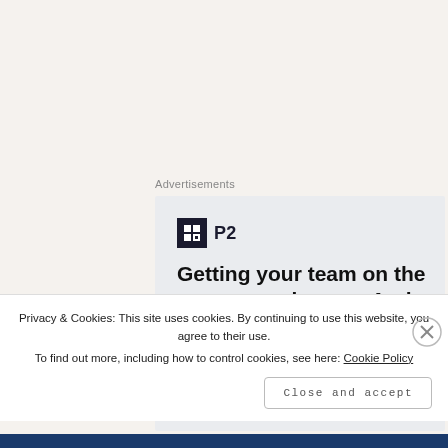Advertisements
[Figure (screenshot): P2 advertisement card with logo, headline 'Getting your team on the same page is easy. And free.' and avatar images at the bottom.]
Privacy & Cookies: This site uses cookies. By continuing to use this website, you agree to their use.
To find out more, including how to control cookies, see here: Cookie Policy
Close and accept